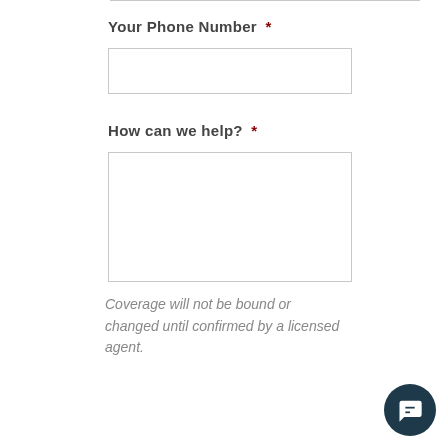Your Phone Number *
How can we help? *
Coverage will not be bound or changed until confirmed by a licensed agent.